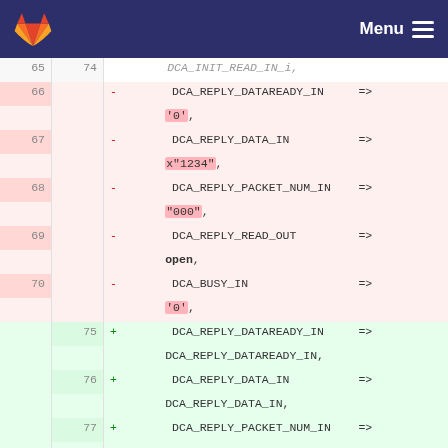GitLab Menu
DCA_INIT_READ_IN_i,
65  74
66  -  DCA_REPLY_DATAREADY_IN  =>  '0',
67  -  DCA_REPLY_DATA_IN  =>  x"1234",
68  -  DCA_REPLY_PACKET_NUM_IN  =>  "000",
69  -  DCA_REPLY_READ_OUT  =>  open,
70  -  DCA_BUSY_IN  =>  '0',
75  +  DCA_REPLY_DATAREADY_IN  =>  DCA_REPLY_DATAREADY_IN,
76  +  DCA_REPLY_DATA_IN  =>  DCA_REPLY_DATA_IN,
77  +  DCA_REPLY_PACKET_NUM_IN  =>  DCA_REPLY_PACKET_NUM_IN,
78  +  DCA_REPLY_READ_OUT  =>  DCA_REPLY_READ_OUT,